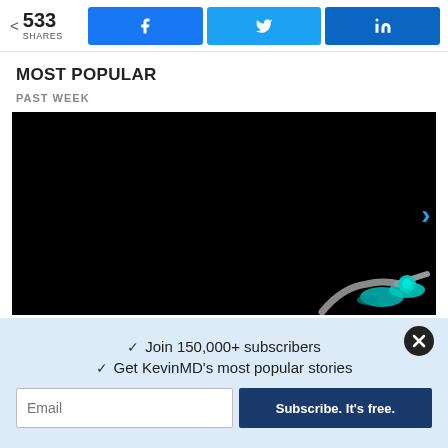533 SHARES
MOST POPULAR
PAST WEEK
[Figure (photo): Dark background medical image showing a stethoscope in the lower right corner with teal/cyan color against a black background]
✓ Join 150,000+ subscribers
✓ Get KevinMD's most popular stories
Email | Subscribe. It's free.